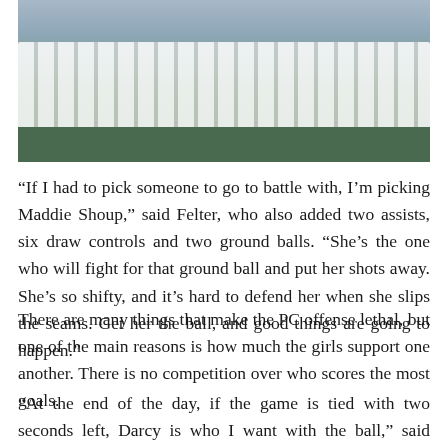[Figure (photo): Group photo of a large girls lacrosse team in white uniforms posing on a field]
“If I had to pick someone to go to battle with, I’m picking Maddie Shoup,” said Felter, who also added two assists, six draw controls and two ground balls. “She’s the one who will fight for that ground ball and put her shots away. She’s so shifty, and it’s hard to defend her when she slips the seams. Get her the ball, and good things are going to happen.”
There are many things that make the PC offense lethal, but one of the main reasons is how much the girls support one another. There is no competition over who scores the most goals.
“At the end of the day, if the game is tied with two seconds left, Darcy is who I want with the ball,” said Shoup, who added an assist, four draw controls, a ground ball, and